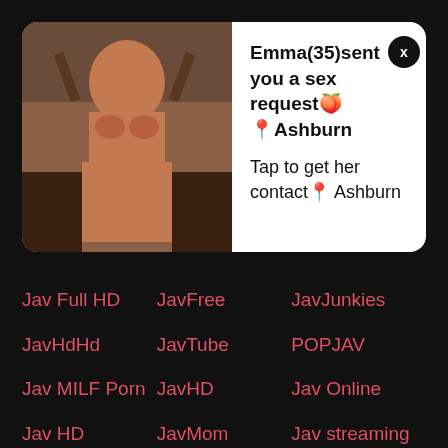[Figure (other): Browser push notification popup with an adult content image on the left and text on the right reading: Emma(35)sent you a sex request🍑Ashburn / Tap to get her contact📍 Ashburn]
Jav Full HD
JavFree
JavJunkies
JavHdHd
JavTube
POPJAV
Jav MILF Porn
JavHD
Jav Online
Jav HD
JavMom
Jav streaming
Japan creampie
Jav Free
Jav XXX Japan
Jav Mom
Jav Movie
Jav Mother